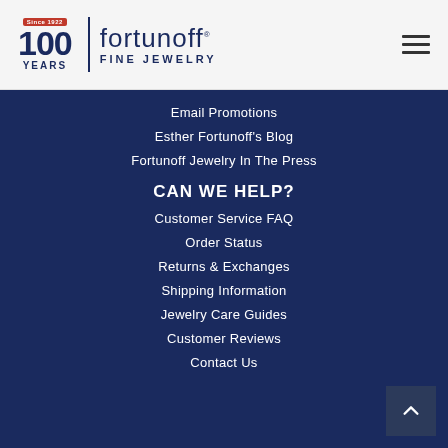[Figure (logo): Fortunoff Fine Jewelry logo with 100 Years since 1922 badge and hamburger menu icon]
Email Promotions
Esther Fortunoff's Blog
Fortunoff Jewelry In The Press
CAN WE HELP?
Customer Service FAQ
Order Status
Returns & Exchanges
Shipping Information
Jewelry Care Guides
Customer Reviews
Contact Us